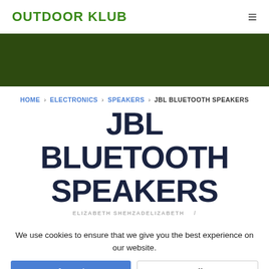OUTDOOR KLUB
HOME › ELECTRONICS › SPEAKERS › JBL BLUETOOTH SPEAKERS
JBL BLUETOOTH SPEAKERS
ELIZABETH SHEHZADELIZABETH
We use cookies to ensure that we give you the best experience on our website.
When you're looking for a new jbl bluetooth speakers, it can be tough finding the perfect one.